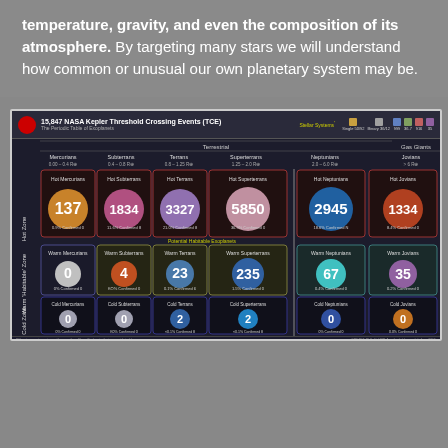temperature, gravity, and even the composition of its atmosphere. By targeting many stars we will understand how common or unusual our own planetary system may be.
[Figure (infographic): Grid of exoplanet types by size (Mercurians, Subterrans, Terrans, Superterrans, Neptunians, Jovians) and temperature zone (Hot Zone, Warm Habitable Zone, Cold Zone), with counts: Hot Mercurians 137, Hot Subterrans 1834, Hot Terrans 3327, Hot Superterrans 5850, Hot Neptunians 2945, Hot Jovians 1334, Warm Mercurians 0, Warm Subterrans 4, Warm Terrans 23, Warm Superterrans 235, Warm Neptunians 67, Warm Jovians 35, Cold Mercurians 0, Cold Subterrans 0, Cold Terrans 2, Cold Superterrans 2, Cold Neptunians 0, Cold Jovians 0]